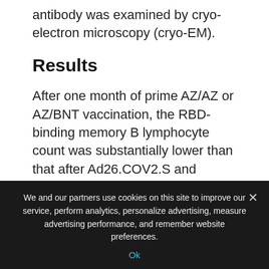antibody was examined by cryo-electron microscopy (cryo-EM).
Results
After one month of prime AZ/AZ or AZ/BNT vaccination, the RBD-binding memory B lymphocyte count was substantially lower than that after Ad26.COV2.S and mRNA vaccination. However, the count improved after AZ/AZ or AZ/BNT boosts although the count was still lower than that observed after double mRNA vaccination. Contrastingly, the
We and our partners use cookies on this site to improve our service, perform analytics, personalize advertising, measure advertising performance, and remember website preferences.
Ok